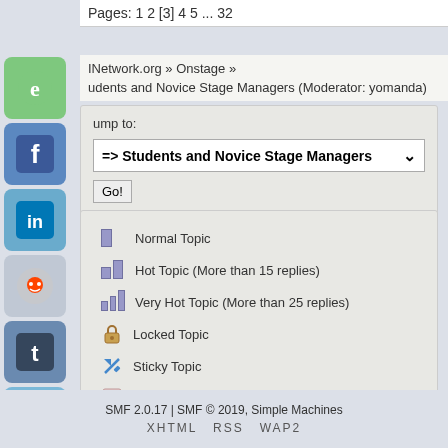Pages: 1 2 [3] 4 5 ... 32
INetwork.org » Onstage »
udents and Novice Stage Managers (Moderator: yomanda)
Jump to:
=> Students and Novice Stage Managers
Go!
Normal Topic
Hot Topic (More than 15 replies)
Very Hot Topic (More than 25 replies)
Locked Topic
Sticky Topic
Poll
SMF 2.0.17 | SMF © 2019, Simple Machines
XHTML   RSS   WAP2